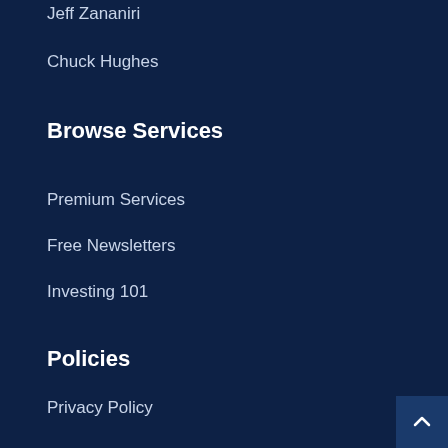Jeff Zananiri
Chuck Hughes
Browse Services
Premium Services
Free Newsletters
Investing 101
Policies
Privacy Policy
Disclaimer
Terms of Service